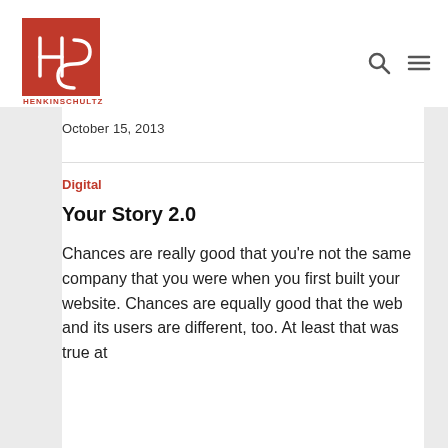[Figure (logo): HenkinSchultz logo — white HS monogram on red background with HENKINSCHULTZ text below]
October 15, 2013
Digital
Your Story 2.0
Chances are really good that you're not the same company that you were when you first built your website. Chances are equally good that the web and its users are different, too. At least that was true at